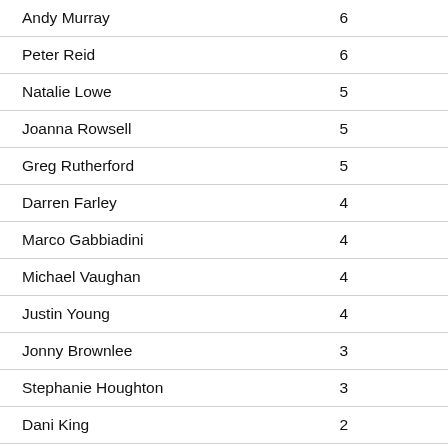| Name | Value |
| --- | --- |
| Andy Murray | 6 |
| Peter Reid | 6 |
| Natalie Lowe | 5 |
| Joanna Rowsell | 5 |
| Greg Rutherford | 5 |
| Darren Farley | 4 |
| Marco Gabbiadini | 4 |
| Michael Vaughan | 4 |
| Justin Young | 4 |
| Jonny Brownlee | 3 |
| Stephanie Houghton | 3 |
| Dani King | 2 |
| Paul Reid | 2 |